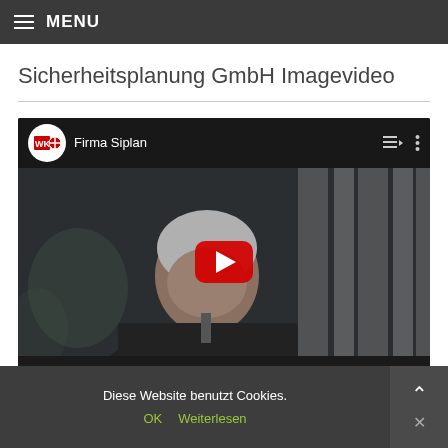MENU
Sicherheitsplanung GmbH Imagevideo
[Figure (screenshot): YouTube video player showing 'Firma Siplan' channel with WKO logo, video thumbnail featuring a grey-haired man in a suit, red YouTube play button in center, video controls showing 00:00 / 01:47]
Diese Website benutzt Cookies.
OK   Weiterlesen